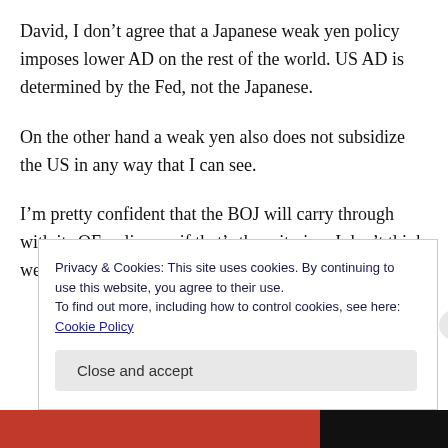David, I don't agree that a Japanese weak yen policy imposes lower AD on the rest of the world. US AD is determined by the Fed, not the Japanese.
On the other hand a weak yen also does not subsidize the US in any way that I can see.
I'm pretty confident that the BOJ will carry through with its QE policy, so if that's the criterion, I don't think we need to worry about
Privacy & Cookies: This site uses cookies. By continuing to use this website, you agree to their use.
To find out more, including how to control cookies, see here: Cookie Policy